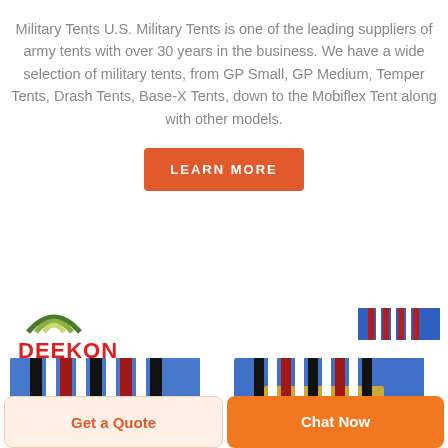Military Tents U.S. Military Tents is one of the leading suppliers of army tents with over 30 years in the business. We have a wide selection of military tents, from GP Small, GP Medium, Temper Tents, Drash Tents, Base-X Tents, down to the Mobiflex Tent along with other models.
[Figure (other): Orange 'LEARN MORE' button]
[Figure (logo): DEEKON logo with icon above red text]
[Figure (photo): Small military ribbon bar thumbnail in top right]
[Figure (photo): Two military ribbon/medal photos side by side]
[Figure (other): Bottom action buttons: 'Get a Quote' and 'Chat Now']